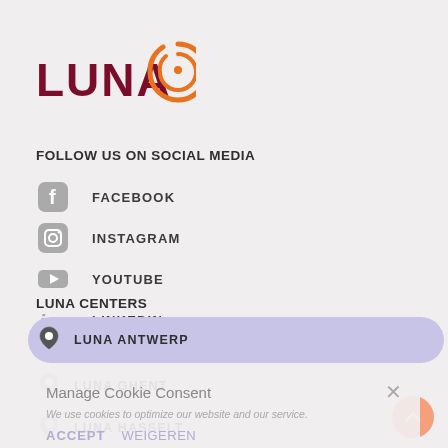[Figure (logo): LUNA logo with dark red text and orange spiral icon]
FOLLOW US ON SOCIAL MEDIA
FACEBOOK
INSTAGRAM
YOUTUBE
LINKEDIN
LUNA CENTERS
LUNA ANTWERP
LUNA GHENT
LUNA HASSELT
LUNA OSTEND
Manage Cookie Consent
We use cookies to optimize our website and our service.
ACCEPT
WEIGEREN